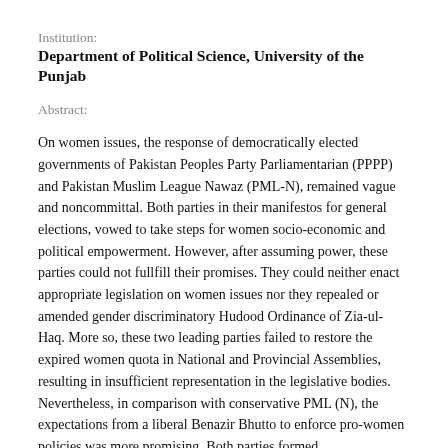Institution:
Department of Political Science, University of the Punjab
Abstract:
On women issues, the response of democratically elected governments of Pakistan Peoples Party Parliamentarian (PPPP) and Pakistan Muslim League Nawaz (PML-N), remained vague and noncommittal. Both parties in their manifestos for general elections, vowed to take steps for women socio-economic and political empowerment. However, after assuming power, these parties could not fullfill their promises. They could neither enact appropriate legislation on women issues nor they repealed or amended gender discriminatory Hudood Ordinance of Zia-ul-Haq. More so, these two leading parties failed to restore the expired women quota in National and Provincial Assemblies, resulting in insufficient representation in the legislative bodies. Nevertheless, in comparison with conservative PML (N), the expectations from a liberal Benazir Bhutto to enforce pro-women policies was more promising. Both parties formed